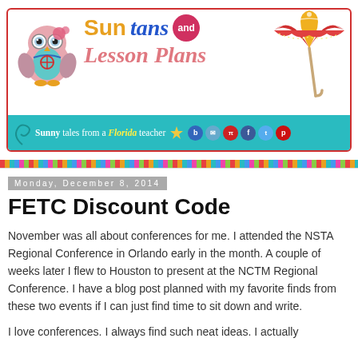[Figure (logo): Suntans and Lesson Plans blog header banner with colorful owl illustration, beach umbrella, teal wave strip reading 'Sunny tales from a Florida teacher', social media icons, and decorative dot border]
Monday, December 8, 2014
FETC Discount Code
November was all about conferences for me. I attended the NSTA Regional Conference in Orlando early in the month. A couple of weeks later I flew to Houston to present at the NCTM Regional Conference. I have a blog post planned with my favorite finds from these two events if I can just find time to sit down and write.
I love conferences. I always find such neat ideas. I actually